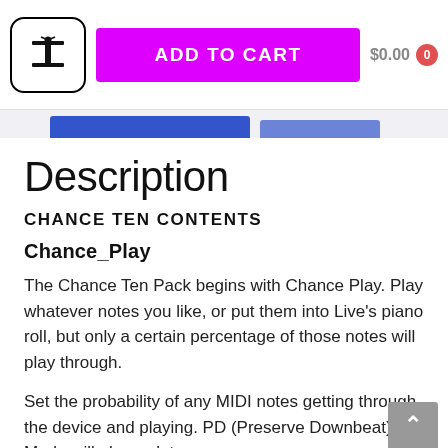ADD TO CART  $0.00  0
Description
CHANCE TEN CONTENTS
Chance_Play
The Chance Ten Pack begins with Chance Play. Play whatever notes you like, or put them into Live's piano roll, but only a certain percentage of those notes will play through.
Set the probability of any MIDI notes getting through the device and playing. PD (Preserve Downbeat) Mode will always let any